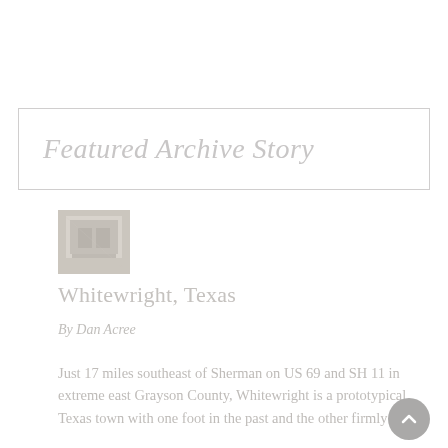Featured Archive Story
[Figure (photo): Small thumbnail image of a building or storefront, sepia/faded tones]
Whitewright, Texas
By Dan Acree
Just 17 miles southeast of Sherman on US 69 and SH 11 in extreme east Grayson County, Whitewright is a prototypical Texas town with one foot in the past and the other firmly